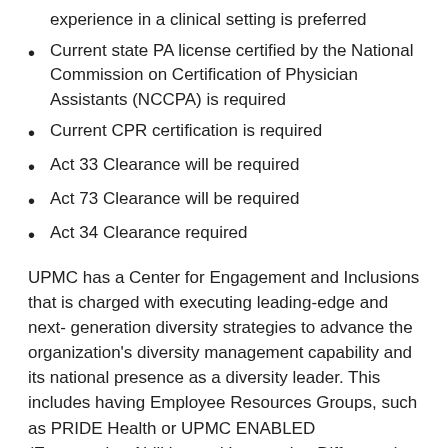experience in a clinical setting is preferred
Current state PA license certified by the National Commission on Certification of Physician Assistants (NCCPA) is required
Current CPR certification is required
Act 33 Clearance will be required
Act 73 Clearance will be required
Act 34 Clearance required
UPMC has a Center for Engagement and Inclusions that is charged with executing leading-edge and next- generation diversity strategies to advance the organization's diversity management capability and its national presence as a diversity leader. This includes having Employee Resources Groups, such as PRIDE Health or UPMC ENABLED (Empowering Abilities and Leveraging Difference) Network, that support the implementation of our diversity strategy.